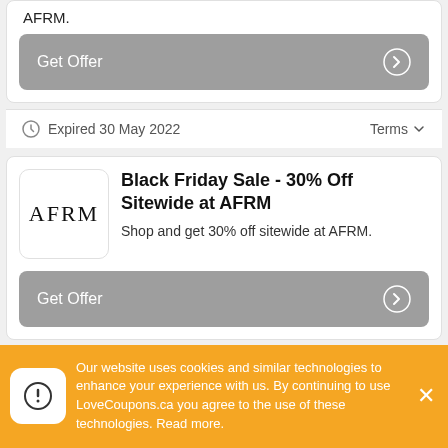AFRM.
Get Offer
Expired 30 May 2022
Terms
Black Friday Sale - 30% Off Sitewide at AFRM
Shop and get 30% off sitewide at AFRM.
Get Offer
Our website uses cookies and similar technologies to enhance your experience with us. By continuing to use LoveCoupons.ca you agree to the use of these technologies. Read more.